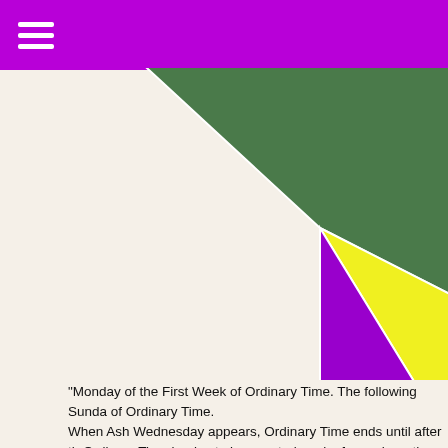[Figure (pie-chart): Partial pie chart showing liturgical seasons: large green section (Ordinary Time), yellow section (Easter), purple section (Advent/Lent). Only the bottom half of the chart is visible, cropped at top.]
"Monday of the First Week of Ordinary Time. The following Sunday of Ordinary Time.
When Ash Wednesday appears, Ordinary Time ends until after the Ordinary Time begins to be counted again, from where the season the week after Pentecost. There are a total of thirty-three or thirty Time which are laid out. (If necessary, sometimes one of the weeks final weeks are able to be fit in.)